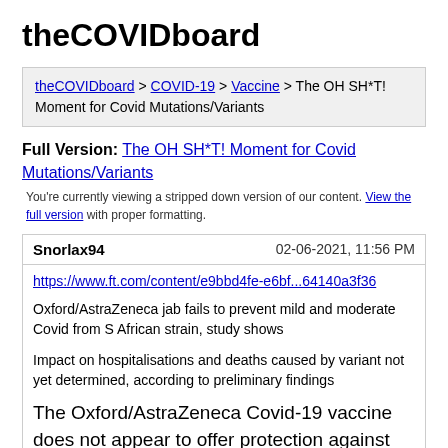theCOVIDboard
theCOVIDboard > COVID-19 > Vaccine > The OH SH*T! Moment for Covid Mutations/Variants
Full Version: The OH SH*T! Moment for Covid Mutations/Variants
You're currently viewing a stripped down version of our content. View the full version with proper formatting.
Snorlax94    02-06-2021, 11:56 PM
https://www.ft.com/content/e9bbd4fe-e6bf...64140a3f36
Oxford/AstraZeneca jab fails to prevent mild and moderate Covid from S African strain, study shows
Impact on hospitalisations and deaths caused by variant not yet determined, according to preliminary findings
The Oxford/AstraZeneca Covid-19 vaccine does not appear to offer protection against mild and moderate disease caused by the viral variant first identified in South Africa, according to a study due to be published on